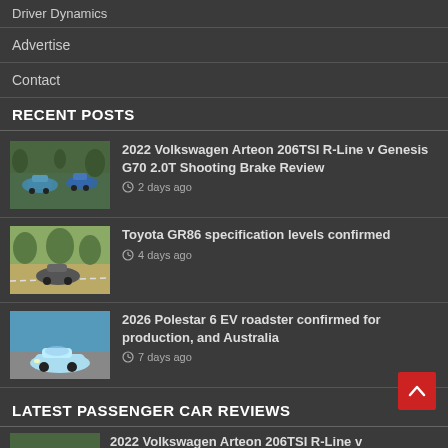Driver Dynamics
Advertise
Contact
RECENT POSTS
2022 Volkswagen Arteon 206TSI R-Line v Genesis G70 2.0T Shooting Brake Review — 2 days ago
Toyota GR86 specification levels confirmed — 4 days ago
2026 Polestar 6 EV roadster confirmed for production, and Australia — 7 days ago
LATEST PASSENGER CAR REVIEWS
2022 Volkswagen Arteon 206TSI R-Line v